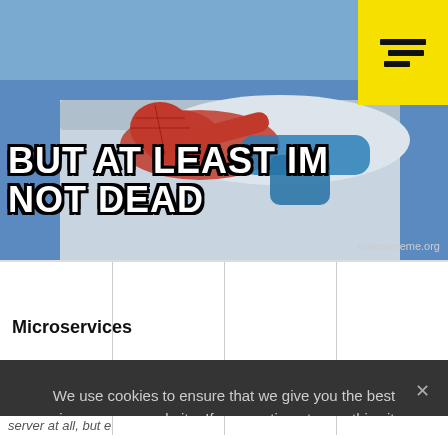[Figure (photo): Screenshot of a webpage showing a Spider-Man meme with text 'BUT AT LEAST IM NOT DEAD', a yellow logo/menu icon in the top-right corner, a table with 'Microservices' label, and a cookie consent overlay with 'OK' button. Watermark reads makeameme.org.]
BUT AT LEAST IM NOT DEAD
| Microservices |  |  |  |
We use cookies to ensure that we give you the best experience on our website. If you continue to use this site we will assume that you are happy with it.
OK
server at all, but even if there was, it is much